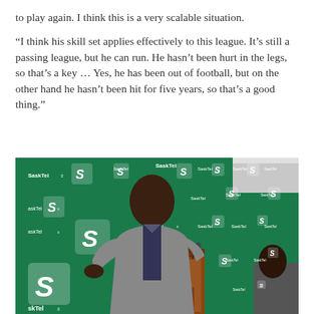to play again. I think this is a very scalable situation.
“I think his skill set applies effectively to this league. It’s still a passing league, but he can run. He hasn’t been hurt in the legs, so that’s a key … Yes, he has been out of football, but on the other hand he hasn’t been hit for five years, so that’s a good thing.”
[Figure (photo): A man in a grey suit speaking at a podium at a Saskatchewan Roughriders/SaskTel press conference. A green banner with Saskatchewan Roughriders logos and SaskTel branding is in the background. A woman is partially visible at the right.]